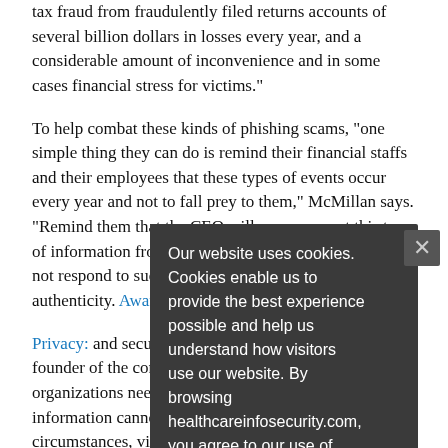tax fraud from fraudulently filed returns accounts of several billion dollars in losses every year, and a considerable amount of inconvenience and in some cases financial stress for victims."
To help combat these kinds of phishing scams, "one simple thing they can do is remind their financial staffs and their employees that these types of events occur every year and not to fall prey to them," McMillan says. "Remind them that the CEO will never request this type of information from them in an email, and they should not respond to such a request without first verifying its authenticity. Awareness is key."
Privacy: and security expert Kate Borten, president and founder of the consultancy The Marblehead Group, says organizations need clear-cut policies on what types of information cannot be transmitted, under any circumstances, via unencrypted email.
Our website uses cookies. Cookies enable us to provide the best experience possible and help us understand how visitors use our website. By browsing healthcareinfosecurity.com, you agree to our use of cookies.